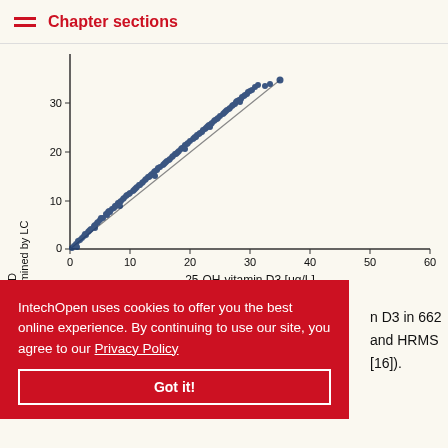Chapter sections
[Figure (scatter-plot): Scatter plot of 25-OH-vitamin D3 measurements comparing QQQ-MS (x-axis, 0-60 μg/L) vs LC method (y-axis, 0-35), showing strong linear correlation with data points clustered along a diagonal line from origin to approximately (35, 35).]
IntechOpen uses cookies to offer you the best online experience. By continuing to use our site, you agree to our Privacy Policy
Got it!
n D3 in 662 and HRMS [16]).
Evidences of HRMS quantitative performance are